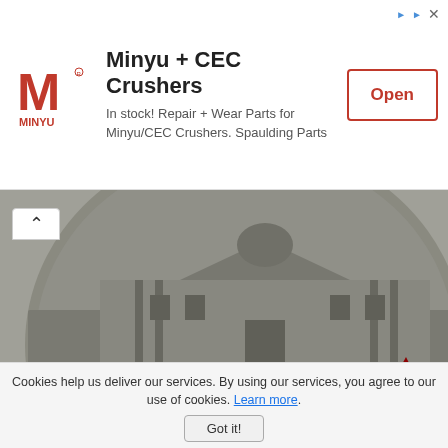[Figure (infographic): Advertisement banner for Minyu + CEC Crushers with red M logo, company name, tagline 'In stock! Repair + Wear Parts for Minyu/CEC Crushers. Spaulding Parts', and an Open button]
[Figure (photo): Close-up photograph of the reverse side of a 1938 Jefferson nickel showing Monticello, with a red arrow pointing to the area where a mintmark would be, and a zoomed-in close-up on the right side. Caption reads 'No Mintmark: Philadelphia Mint']
No Mintmark: Philadelphia Mint
Philadelphia mint struck the majority of 1938 Jefferson nickels. 19.5 million of the design produced with many serving in commerce for decades. In circulated condition
Cookies help us deliver our services. By using our services, you agree to our use of cookies. Learn more.
Got it!